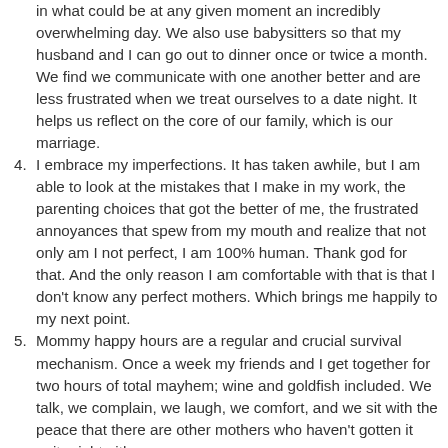(continuation) in what could be at any given moment an incredibly overwhelming day. We also use babysitters so that my husband and I can go out to dinner once or twice a month. We find we communicate with one another better and are less frustrated when we treat ourselves to a date night. It helps us reflect on the core of our family, which is our marriage.
4. I embrace my imperfections. It has taken awhile, but I am able to look at the mistakes that I make in my work, the parenting choices that got the better of me, the frustrated annoyances that spew from my mouth and realize that not only am I not perfect, I am 100% human. Thank god for that. And the only reason I am comfortable with that is that I don't know any perfect mothers. Which brings me happily to my next point.
5. Mommy happy hours are a regular and crucial survival mechanism. Once a week my friends and I get together for two hours of total mayhem; wine and goldfish included. We talk, we complain, we laugh, we comfort, and we sit with the peace that there are other mothers who haven't gotten it quite right either.
6. I turn off at the end of the day. With the growing trend of telecommuting and nationally distributed staffs, work can easily become a 24-hour a day thing. It is not easy, but I try to shut down the computer and my phone early enough in the evening